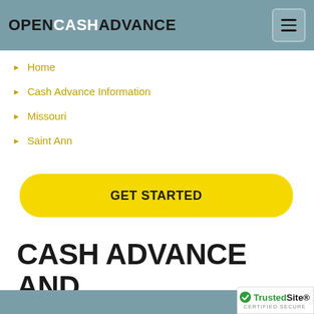OPENCASHADVANCE
Home
Cash Advance Information
Missouri
Saint Ann
GET STARTED
CASH ADVANCE AND PAYDAY LOANS IN SAINT ANN, MO.
[Figure (logo): TrustedSite Certified Secure badge]